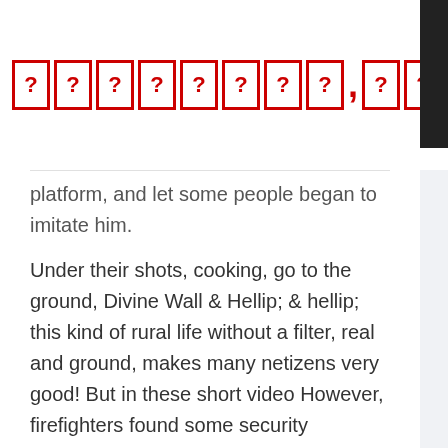? ? ? ? ? ? ? ? , ? ? ? ? ? ?
Recording the reality of rural life on a short video platform, and let some people began to imitate him.
Under their shots, cooking, go to the ground, Divine Wall & Hellip; & hellip; this kind of rural life without a filter, real and ground, makes many netizens very good! But in these short video However, firefighters found some security hazards, but also remind everyone to pay attention to electricity and heating in winter.
In the video of the classmates, there is a pink porous plug-in, and Zhang Tongchi will use it with